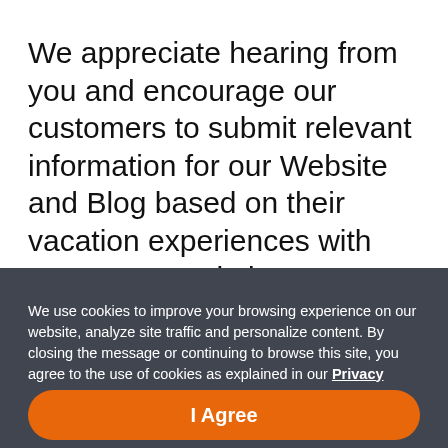We appreciate hearing from you and encourage our customers to submit relevant information for our Website and Blog based on their vacation experiences with HCV. As a Website User without a contract as a paid contributor, and if, at our request or on your own, you send, email, post or otherwise transmit to us or this Website any Content, (collectively, the “Submissions”), you grant us and our successors and assigns a royalty-free, perpetual, irrevocable, non-
We use cookies to improve your browsing experience on our website, analyze site traffic and personalize content. By closing the message or continuing to browse this site, you agree to the use of cookies as explained in our Privacy Policy.
I Agree